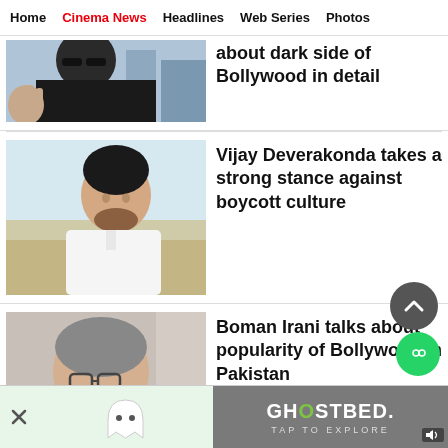Home | Cinema News | Headlines | Web Series | Photos
[Figure (photo): Man with sunglasses making hand gesture, dark jacket, outdoors]
about dark side of Bollywood in detail
[Figure (photo): Vijay Deverakonda in white traditional outfit, looking sideways]
Vijay Deverakonda takes a strong stance against boycott culture
[Figure (photo): Boman Irani with glasses and beard, dark jacket]
Boman Irani talks about popularity of Bollywood in Pakistan
[Figure (screenshot): Advertisement bar at bottom — GhostBed ad with ghost icon, close button, and TAP TO EXPLORE text]